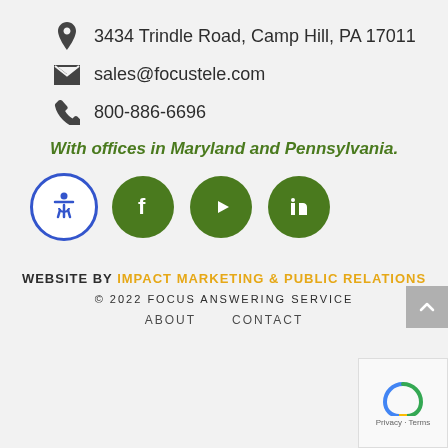3434 Trindle Road, Camp Hill, PA 17011
sales@focustele.com
800-886-6696
With offices in Maryland and Pennsylvania.
[Figure (illustration): Accessibility icon circle (blue outline), Facebook circle (dark green), YouTube circle (dark green), LinkedIn circle (dark green)]
WEBSITE BY IMPACT MARKETING & PUBLIC RELATIONS
© 2022 FOCUS ANSWERING SERVICE
ABOUT   CONTACT